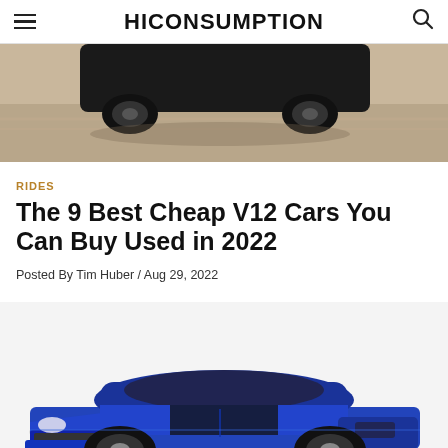HICONSUMPTION
[Figure (photo): Top portion of a dark muscle car speeding on a road, blurred background]
RIDES
The 9 Best Cheap V12 Cars You Can Buy Used in 2022
Posted By Tim Huber / Aug 29, 2022
[Figure (photo): Blue classic muscle car (Camaro-style) with black hood stripes on white background]